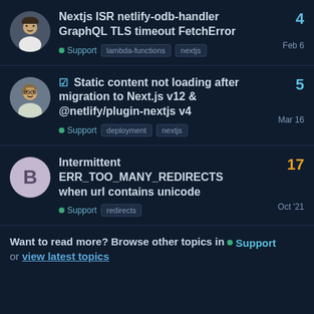Nextjs ISR netlify-odb-handler GraphQL TLS timeout FetchError | Support | lambda-functions nextjs | Feb 6 | 4 replies
✓ Static content not loading after migration to Next.js v12 & @netlify/plugin-nextjs v4 | Support | deployment nextjs | Mar 16 | 5 replies
Intermittent ERR_TOO_MANY_REDIRECTS when url contains unicode | Support | redirects | Oct '21 | 17 replies
Want to read more? Browse other topics in • Support or view latest topics.